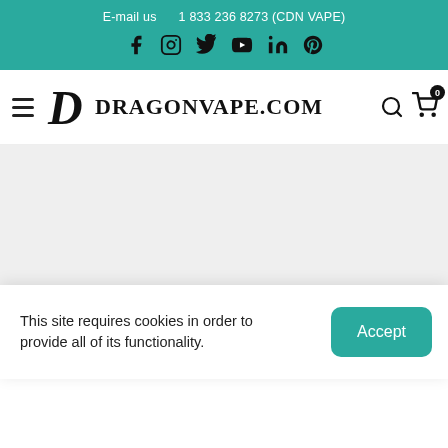E-mail us    1 833 236 8273 (CDN VAPE)
[Figure (logo): Social media icons: Facebook, Instagram, Twitter, YouTube, LinkedIn, Pinterest on teal background]
[Figure (logo): DragonVape.com logo with dragon icon, hamburger menu, search icon, and cart icon with badge 0]
This site requires cookies in order to provide all of its functionality.